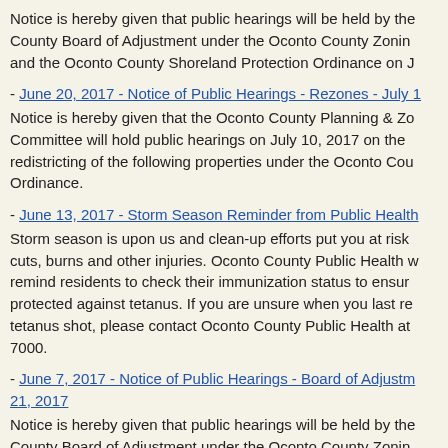Notice is hereby given that public hearings will be held by the County Board of Adjustment under the Oconto County Zoning and the Oconto County Shoreland Protection Ordinance on J
- June 20, 2017 - Notice of Public Hearings - Rezones - July 1
Notice is hereby given that the Oconto County Planning & Zoning Committee will hold public hearings on July 10, 2017 on the redistricting of the following properties under the Oconto County Ordinance.
- June 13, 2017 - Storm Season Reminder from Public Health
Storm season is upon us and clean-up efforts put you at risk of cuts, burns and other injuries. Oconto County Public Health would remind residents to check their immunization status to ensure protected against tetanus. If you are unsure when you last received a tetanus shot, please contact Oconto County Public Health at 7000.
- June 7, 2017 - Notice of Public Hearings - Board of Adjustment - 21, 2017
Notice is hereby given that public hearings will be held by the County Board of Adjustment under the Oconto County Zoning and the Oconto County Shoreland Protection Ordinance...